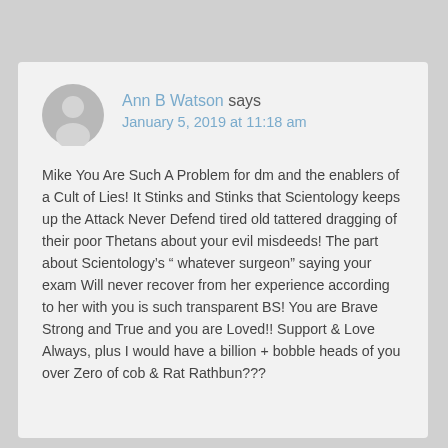[Figure (illustration): Generic grey user avatar silhouette icon]
Ann B Watson says
January 5, 2019 at 11:18 am
Mike You Are Such A Problem for dm and the enablers of a Cult of Lies! It Stinks and Stinks that Scientology keeps up the Attack Never Defend tired old tattered dragging of their poor Thetans about your evil misdeeds! The part about Scientology’s “ whatever surgeon” saying your exam Will never recover from her experience according to her with you is such transparent BS! You are Brave Strong and True and you are Loved!! Support & Love Always, plus I would have a billion + bobble heads of you over Zero of cob & Rat Rathbun???